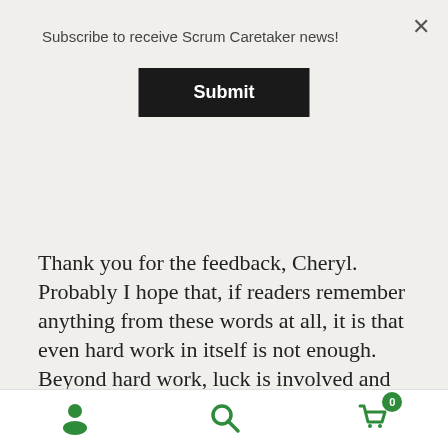Subscribe to receive Scrum Caretaker news!
Submit
Thank you for the feedback, Cheryl. Probably I hope that, if readers remember anything from these words at all, it is that even hard work in itself is not enough. Beyond hard work, luck is involved and even more: TIME.
Have a wonderful summer. Check out some summer reading inspiration! Dismiss